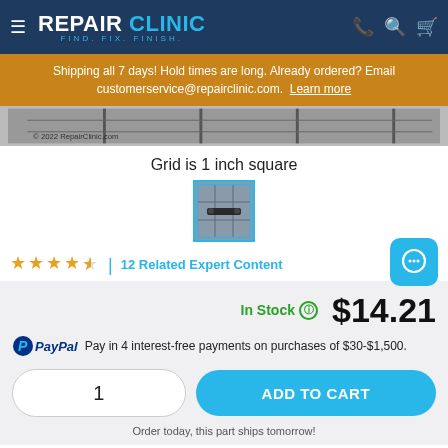REPAIR CLINIC — FIND. FIX. FINISH.
Shipping all 7 days! Hold times are long. Already ordered? Email customerservice@repairclinic.com. Learn more
[Figure (photo): Product image strip showing a grid background with copyright 2022 RepairClinic.com]
Grid is 1 inch square
[Figure (photo): Small thumbnail of a part on a grid background, outlined in blue]
★★★★½  |  12 Related Expert Content
In Stock  $14.21
PayPal  Pay in 4 interest-free payments on purchases of $30-$1,500.
1   ADD TO CART
Order today, this part ships tomorrow!